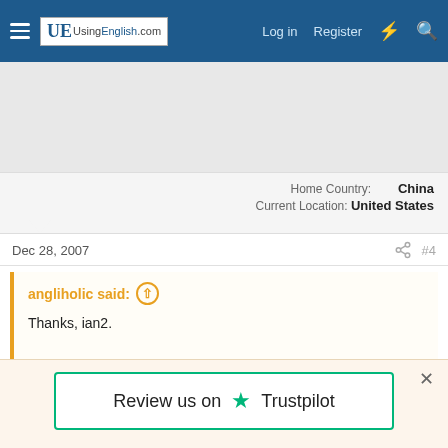UsingEnglish.com — Log in  Register
[Figure (other): Advertisement area (gray background)]
Home Country: China
Current Location: United States
Dec 28, 2007  #4
angliholic said:
Thanks, ian2.

By the way, what do you think of the following sample? Would you use "related" or "relative?"
Review us on Trustpilot